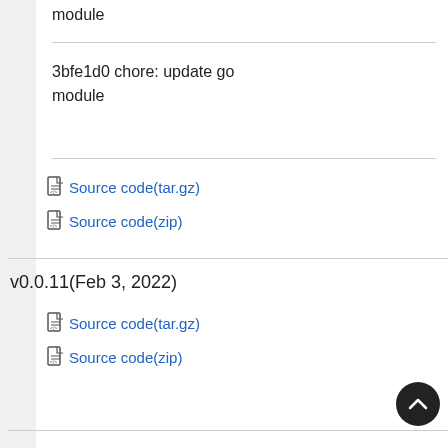module
3bfe1d0 chore: update go module
Source code(tar.gz)
Source code(zip)
v0.0.11(Feb 3, 2022)
Source code(tar.gz)
Source code(zip)